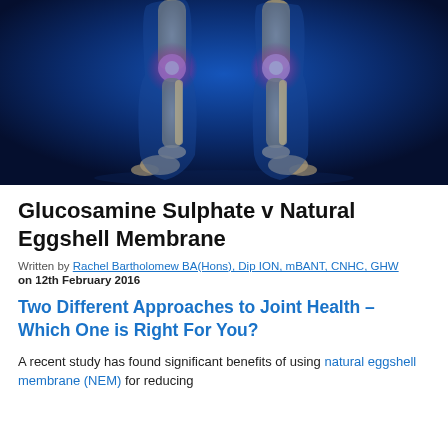[Figure (illustration): Medical illustration showing two human legs from knees down with glowing red/pink knee joints on a dark blue background, and X-ray style bone structure visible]
Glucosamine Sulphate v Natural Eggshell Membrane
Written by Rachel Bartholomew BA(Hons), Dip ION, mBANT, CNHC, GHW on 12th February 2016
Two Different Approaches to Joint Health – Which One is Right For You?
A recent study has found significant benefits of using natural eggshell membrane (NEM) for reducing